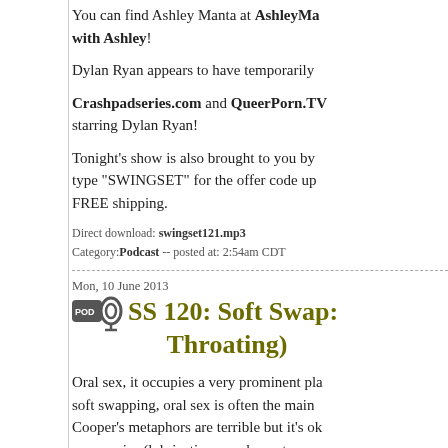You can find Ashley Manta at AshleyMa... with Ashley!
Dylan Ryan appears to have temporarily...
Crashpadseries.com and QueerPorn.TV starring Dylan Ryan!
Tonight's show is also brought to you by... type "SWINGSET" for the offer code up... FREE shipping.
Direct download: swingset121.mp3 Category: Podcast -- posted at: 2:54am CDT
Mon, 10 June 2013
SS 120: Soft Swap: Throating)
Oral sex, it occupies a very prominent pla... soft swapping, oral sex is often the main... Cooper's metaphors are terrible but it's ok... accessories (lubrication, condoms, toys, e...
Check out the Smitten Kitten Online an... out Trustex Flavored Condoms, also av...